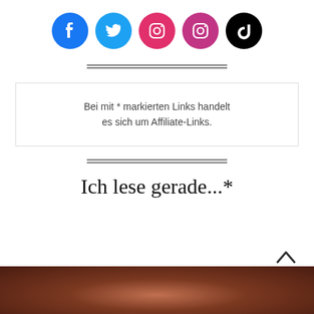[Figure (infographic): Row of 5 social media icons: Facebook (blue), Twitter (light blue), Instagram (pink/red), Instagram (magenta), TikTok (black)]
[Figure (other): Horizontal double-line divider]
Bei mit * markierten Links handelt es sich um Affiliate-Links.
[Figure (other): Horizontal double-line divider]
Ich lese gerade...*
[Figure (photo): Bottom portion of page showing a person with dark hair against a warm brown/reddish background]